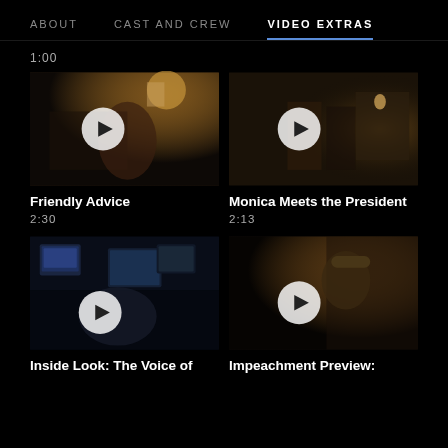ABOUT   CAST AND CREW   VIDEO EXTRAS
1:00
[Figure (screenshot): Video thumbnail: woman sitting in dimly lit room]
Friendly Advice
2:30
[Figure (screenshot): Video thumbnail: two people in formal setting with warm lighting]
Monica Meets the President
2:13
[Figure (screenshot): Video thumbnail: person watching multiple TV screens in dark room]
Inside Look: The Voice of
[Figure (screenshot): Video thumbnail: man in suit and hat in indoor setting]
Impeachment Preview: